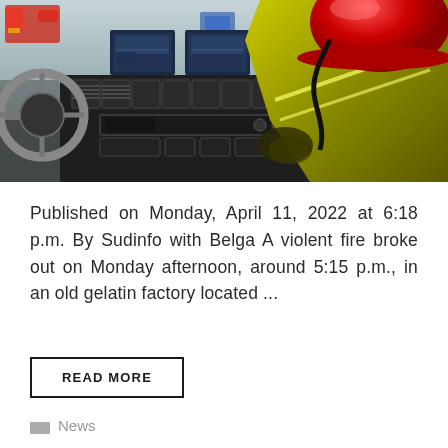[Figure (photo): Interior view of a fire truck cab showing the dashboard with screens and ventilation controls, a firefighter wearing a yellow high-visibility jacket and red helmet sitting in the passenger seat, with a road and red vehicle visible through the windshield.]
Published on Monday, April 11, 2022 at 6:18 p.m. By Sudinfo with Belga A violent fire broke out on Monday afternoon, around 5:15 p.m., in an old gelatin factory located ...
READ MORE
News